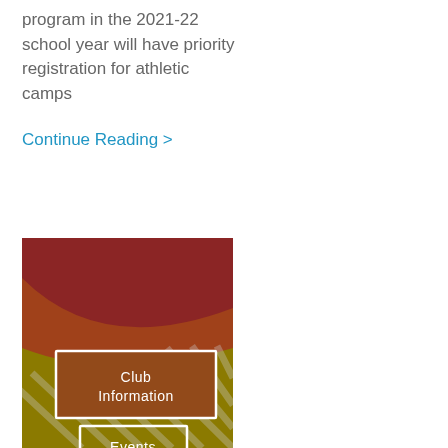program in the 2021-22 school year will have priority registration for athletic camps
Continue Reading >
[Figure (illustration): Decorative image with dark red and olive/gold color bands with diagonal stripe pattern, containing two bordered button-style labels: 'Club Information' and 'Events']